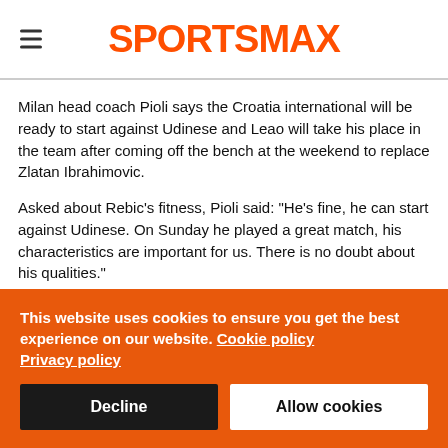SPORTSMAX
Milan head coach Pioli says the Croatia international will be ready to start against Udinese and Leao will take his place in the team after coming off the bench at the weekend to replace Zlatan Ibrahimovic.
Asked about Rebic's fitness, Pioli said: "He's fine, he can start against Udinese. On Sunday he played a great match, his characteristics are important for us. There is no doubt about his qualities."
This website uses cookies to ensure you get the best experience on our website. Cookie policy Privacy policy
Decline
Allow cookies